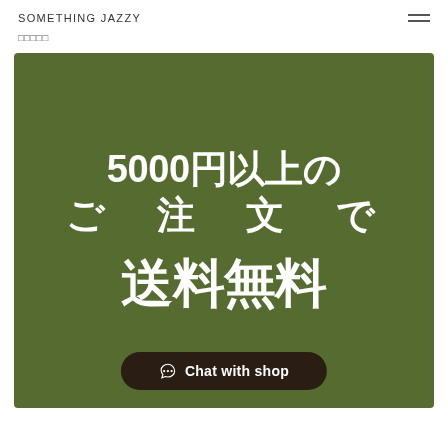SOMETHING JAZZY
□□□□□
[Figure (illustration): Dark olive green banner with large white Japanese text reading '5000円以上のご注文で送料無料' (Free shipping on orders over 5000 yen), and a dark brown rounded chat button at the bottom reading 'Chat with shop']